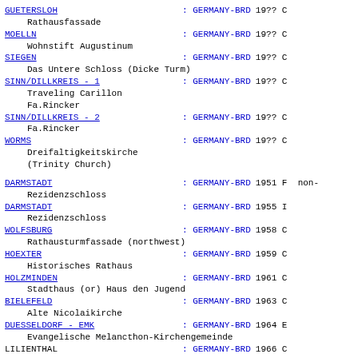GUETERSLOH : GERMANY-BRD 19?? C
    Rathausfassade
MOELLN : GERMANY-BRD 19?? C
    Wohnstift Augustinum
SIEGEN : GERMANY-BRD 19?? C
    Das Untere Schloss (Dicke Turm)
SINN/DILLKREIS - 1 : GERMANY-BRD 19?? C
    Traveling Carillon
    Fa.Rincker
SINN/DILLKREIS - 2 : GERMANY-BRD 19?? C
    Fa.Rincker
WORMS : GERMANY-BRD 19?? C
    Dreifaltigkeitskirche
    (Trinity Church)
DARMSTADT : GERMANY-BRD 1951 F non-
DARMSTADT : GERMANY-BRD 1955 I
    Rezidenzschloss
WOLFSBURG : GERMANY-BRD 1958 C
    Rathausturmfassade (northwest)
HOEXTER : GERMANY-BRD 1959 C
    Historisches Rathaus
HOLZMINDEN : GERMANY-BRD 1961 C
    Stadthaus (or) Haus den Jugend
BIELEFELD : GERMANY-BRD 1963 C
    Alte Nicolaikirche
DUESSELDORF - EMK : GERMANY-BRD 1964 E
    Evangelische Melancthon-Kirchengemeinde
LILIENTHAL : GERMANY-BRD 1966 C